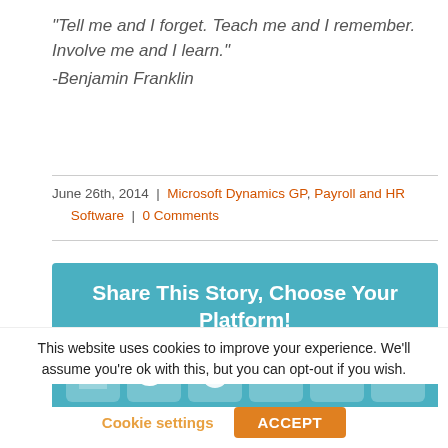“Tell me and I forget. Teach me and I remember. Involve me and I learn.” -Benjamin Franklin
June 26th, 2014 | Microsoft Dynamics GP, Payroll and HR Software | 0 Comments
[Figure (infographic): Share This Story, Choose Your Platform! box with social media icons: Facebook, Twitter, Reddit, LinkedIn, Tumblr, Pinterest]
This website uses cookies to improve your experience. We’ll assume you’re ok with this, but you can opt-out if you wish.
Cookie settings | ACCEPT